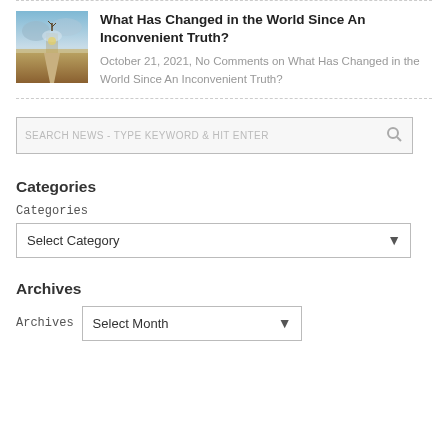[Figure (photo): Thumbnail photo of a rural road or path through a dry field under a dramatic cloudy sky]
What Has Changed in the World Since An Inconvenient Truth?
October 21, 2021, No Comments on What Has Changed in the World Since An Inconvenient Truth?
SEARCH NEWS - TYPE KEYWORD & HIT ENTER
Categories
Categories
Select Category
Archives
Archives  Select Month